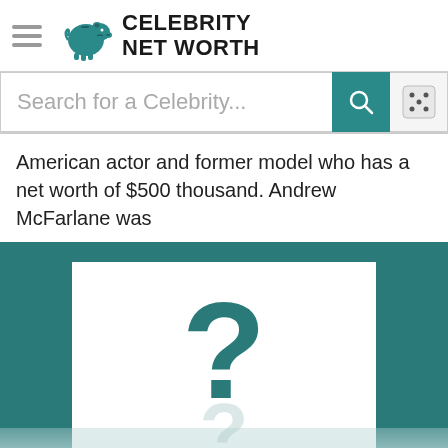Celebrity Net Worth
Search for a Celebrity...
American actor and former model who has a net worth of $500 thousand. Andrew McFarlane was
[Figure (photo): Placeholder image with a large question mark on a white card against a teal background, indicating no photo available for the celebrity]